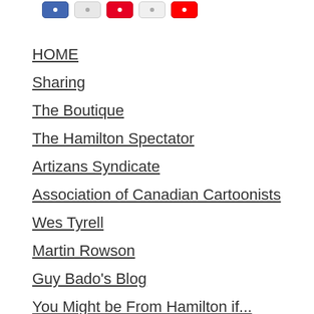[Figure (other): Row of social media icon buttons: Facebook (blue), Twitter (grey), Pinterest (red), LinkedIn (grey), YouTube (red)]
HOME
Sharing
The Boutique
The Hamilton Spectator
Artizans Syndicate
Association of Canadian Cartoonists
Wes Tyrell
Martin Rowson
Guy Bado's Blog
You Might be From Hamilton if...
MacKay's Most Viral Cartoon